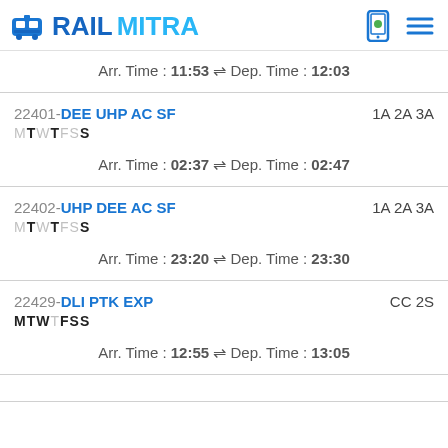RAILMITRA
Arr. Time : 11:53 ⇌ Dep. Time : 12:03
22401-DEE UHP AC SF | MTWTFSS | 1A 2A 3A | Arr. Time : 02:37 ⇌ Dep. Time : 02:47
22402-UHP DEE AC SF | MTWTFSS | 1A 2A 3A | Arr. Time : 23:20 ⇌ Dep. Time : 23:30
22429-DLI PTK EXP | MTWTFSS | CC 2S | Arr. Time : 12:55 ⇌ Dep. Time : 13:05